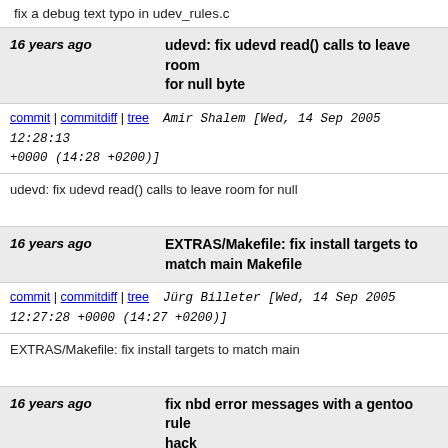fix a debug text typo in udev_rules.c
16 years ago  udevd: fix udevd read() calls to leave room for null byte
commit | commitdiff | tree   Amir Shalem [Wed, 14 Sep 2005 12:28:13 +0000 (14:28 +0200)]
udevd: fix udevd read() calls to leave room for null
16 years ago  EXTRAS/Makefile: fix install targets to match main Makefile
commit | commitdiff | tree   Jürg Billeter [Wed, 14 Sep 2005 12:27:28 +0000 (14:27 +0200)]
EXTRAS/Makefile: fix install targets to match main
16 years ago  fix nbd error messages with a gentoo rule hack
commit | commitdiff | tree   Greg KH [Tue, 13 Sep 2005 21:10:27 +0000 (14:10 -0700)]
fix nbd error messages with a gentoo rule hack
16 years ago  fix scsi_id rule in gentoo config file